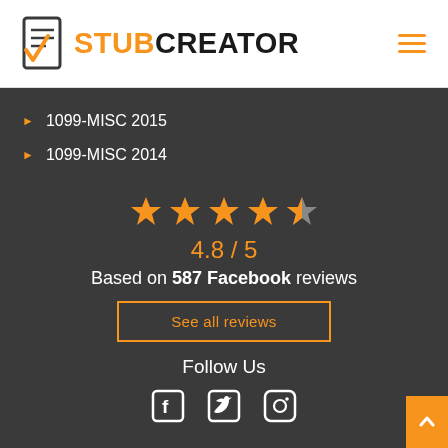[Figure (logo): StubCreator logo with orange checkmark/document icon and text STUBCREATOR in orange and black]
[Figure (illustration): Hamburger menu icon with three orange horizontal lines]
1099-MISC 2015
1099-MISC 2014
[Figure (infographic): 4.8/5 rating with 5 orange stars (4 full, 1 half), text: Based on 587 Facebook reviews]
See all reviews
Follow Us
[Figure (illustration): Social media icons: Facebook, Twitter, Instagram]